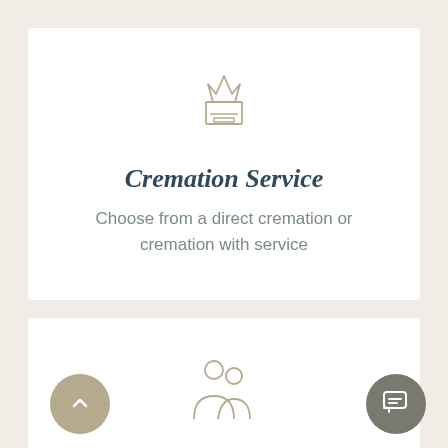[Figure (illustration): Gold outline icon of a cremation chamber with a flame/crown shape on top]
Cremation Service
Choose from a direct cremation or cremation with service
[Figure (illustration): Gold outline icon of two people silhouettes representing a memorial service]
Memorial Service
We offer a unique and personalised